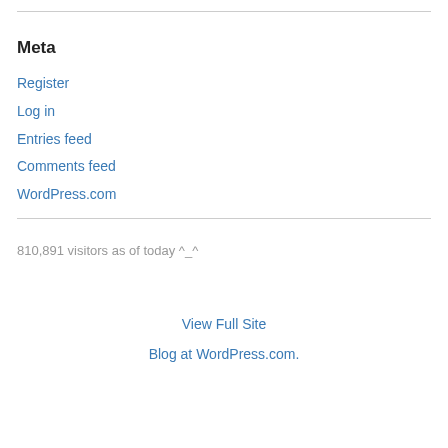Meta
Register
Log in
Entries feed
Comments feed
WordPress.com
810,891 visitors as of today ^_^
View Full Site
Blog at WordPress.com.